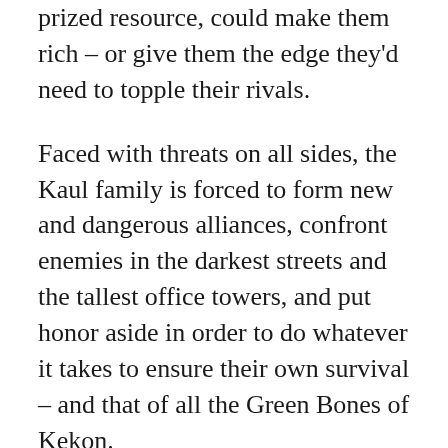prized resource, could make them rich – or give them the edge they'd need to topple their rivals.
Faced with threats on all sides, the Kaul family is forced to form new and dangerous alliances, confront enemies in the darkest streets and the tallest office towers, and put honor aside in order to do whatever it takes to ensure their own survival – and that of all the Green Bones of Kekon.
Jade War is the second book of the Green Bone Saga, an epic trilogy about family, honor, and those who live and